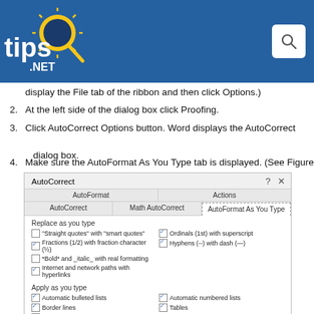tips.NET
display the File tab of the ribbon and then click Options.)
2. At the left side of the dialog box click Proofing.
3. Click AutoCorrect Options button. Word displays the AutoCorrect dialog box.
4. Make sure the AutoFormat As You Type tab is displayed. (See Figure 2.)
[Figure (screenshot): AutoCorrect dialog box showing AutoFormat As You Type tab with checkboxes for Replace as you type and Apply as you type options]